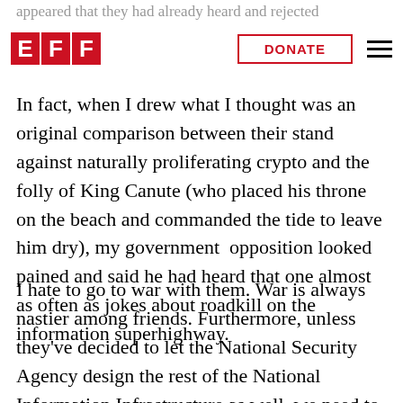appeared that they had already heard and rejected argument I could present.
[Figure (logo): EFF logo - three red square letters E, F, F]
DONATE
In fact, when I drew what I thought was an original comparison between their stand against naturally proliferating crypto and the folly of King Canute (who placed his throne on the beach and commanded the tide to leave him dry), my government  opposition looked pained and said he had heard that one almost as often as jokes about roadkill on the information superhighway.
I hate to go to war with them. War is always nastier among friends. Furthermore, unless they've decided to let the National Security Agency design the rest of the National Information Infrastructure as well, we need to go on working closely with them on the whole range of issues like access